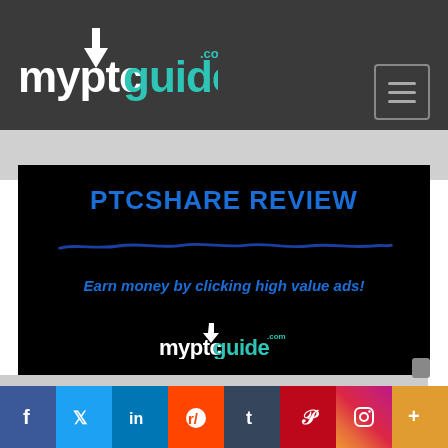[Figure (logo): myptcguide.com logo in white and teal on dark gray background, with upward arrow icon]
[Figure (screenshot): PTCSHARE REVIEW banner on black background. Text: 'PTCSHARE REVIEW' in bold blue with blue underline scribble, 'Earn money by clicking high value ads!' in blue italic, myptcguide.com mini logo at bottom]
[Figure (infographic): Social media share bar at bottom: Facebook, Twitter, LinkedIn, Reddit, Tumblr, Pinterest, Instagram, More icons]